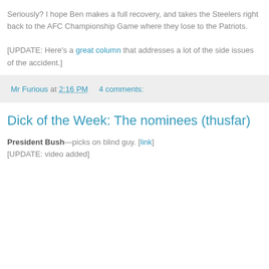Seriously? I hope Ben makes a full recovery, and takes the Steelers right back to the AFC Championship Game where they lose to the Patriots.

[UPDATE: Here's a great column that addresses a lot of the side issues of the accident.]
Mr Furious at 2:16 PM     4 comments:
Dick of the Week: The nominees (thusfar)
President Bush—picks on blind guy. [link]
[UPDATE: video added]